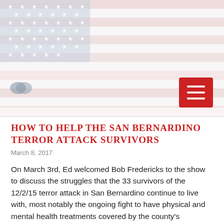[Figure (photo): American flag photograph used as website header banner, faded/washed out appearance with red, white and blue stripes and white stars visible]
HOW TO HELP THE SAN BERNARDINO TERROR ATTACK SURVIVORS
March 8, 2017
On March 3rd, Ed welcomed Bob Fredericks to the show to discuss the struggles that the 33 survivors of the 12/2/15 terror attack in San Bernardino continue to live with, most notably the ongoing fight to have physical and mental health treatments covered by the county's